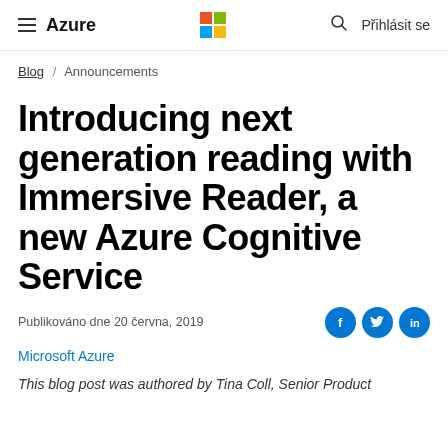Azure — Microsoft logo — Search — Přihlásit se
Blog / Announcements
Introducing next generation reading with Immersive Reader, a new Azure Cognitive Service
Publikováno dne 20 června, 2019
Microsoft Azure
This blog post was authored by Tina Coll, Senior Product